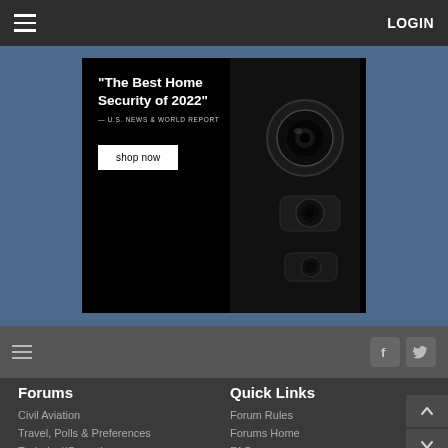≡   LOGIN
[Figure (photo): Advertisement banner for home security camera with text 'The Best Home Security of 2022' — U.S. NEWS & WORLD REPORT, with a 'shop now' button and a dark security camera image on the right.]
≡   [Facebook icon] [Twitter icon]
Forums
Civil Aviation
Travel, Polls & Preferences
Technical/Operations
Aviation Hobby
Quick Links
Forum Rules
Forums Home
FAQ
Search